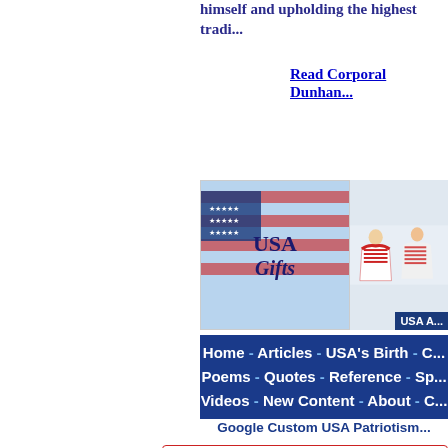himself and upholding the highest tradi...
Read Corporal Dunhan...
[Figure (illustration): USA Gifts banner with American flag background and text 'USA Gifts' alongside shirts with American flag patterns]
Home - Articles - USA's Birth - C... Poems - Quotes - Reference - Sp... Videos - New Content - About - C...
Google Custom USA Patriotism...
[Figure (screenshot): Google search box with 'ENHANCED BY Google' label, red border]